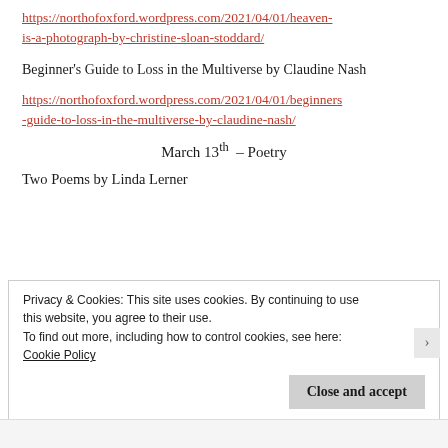https://northofoxford.wordpress.com/2021/04/01/heaven-is-a-photograph-by-christine-sloan-stoddard/
Beginner's Guide to Loss in the Multiverse by Claudine Nash
https://northofoxford.wordpress.com/2021/04/01/beginners-guide-to-loss-in-the-multiverse-by-claudine-nash/
March 13th – Poetry
Two Poems by Linda Lerner
Privacy & Cookies: This site uses cookies. By continuing to use this website, you agree to their use.
To find out more, including how to control cookies, see here:
Cookie Policy
Close and accept